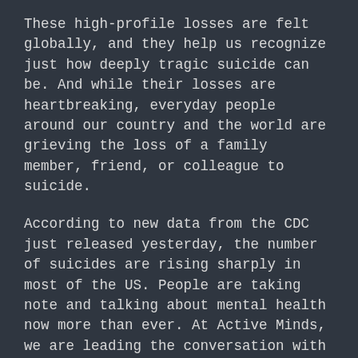These high-profile losses are felt globally, and they help us recognize just how deeply tragic suicide can be. And while their losses are heartbreaking, everyday people around our country and the world are grieving the loss of a family member, friend, or colleague to suicide.
According to new data from the CDC just released yesterday, the number of suicides are rising sharply in most of the US. People are taking note and talking about mental health now more than ever. At Active Minds, we are leading the conversation with an important message: Mental health issues are real, and suicide is preventable.
Suicide is a public health issue that demands our attention. Tragedies like what we have seen just this week can be devastating and leave us wondering where we go from here. Here are some actions you can take as you make sense of these losses for yourself.